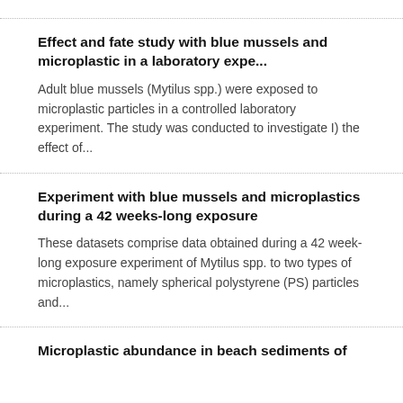Effect and fate study with blue mussels and microplastic in a laboratory expe...
Adult blue mussels (Mytilus spp.) were exposed to microplastic particles in a controlled laboratory experiment. The study was conducted to investigate I) the effect of...
Experiment with blue mussels and microplastics during a 42 weeks-long exposure
These datasets comprise data obtained during a 42 week-long exposure experiment of Mytilus spp. to two types of microplastics, namely spherical polystyrene (PS) particles and...
Microplastic abundance in beach sediments of